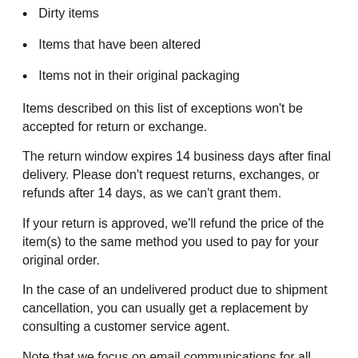Dirty items
Items that have been altered
Items not in their original packaging
Items described on this list of exceptions won't be accepted for return or exchange.
The return window expires 14 business days after final delivery. Please don't request returns, exchanges, or refunds after 14 days, as we can't grant them.
If your return is approved, we'll refund the price of the item(s) to the same method you used to pay for your original order.
In the case of an undelivered product due to shipment cancellation, you can usually get a replacement by consulting a customer service agent.
Note that we focus on email communications for all